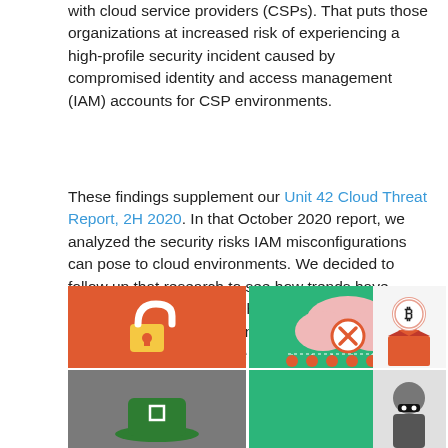with cloud service providers (CSPs). That puts those organizations at increased risk of experiencing a high-profile security incident caused by compromised identity and access management (IAM) accounts for CSP environments.
These findings supplement our Unit 42 Cloud Threat Report, 2H 2020. In that October 2020 report, we analyzed the security risks IAM misconfigurations can pose to cloud environments. We decided to follow up that research to see how trends have changed over the past eight months, particularly in light of the highly significant MFA ramifications of the SolarStorm attack and the Microsoft Exchange Server attacks.
[Figure (illustration): Cybersecurity themed illustration showing multiple panels: an orange panel with an open padlock icon, a green panel with a cloud with an X icon and network nodes below, a white panel with a bitcoin box icon, a grey panel with a hat icon, and a white/grey panel with a masked thief figure.]